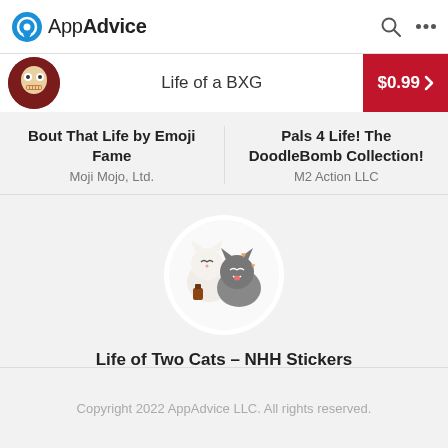AppAdvice
Life of a BXG  $0.99 >
Bout That Life by Emoji Fame
Moji Mojo, Ltd.
Pals 4 Life! The DoodleBomb Collection!
M2 Action LLC
[Figure (illustration): Cartoon illustration of two cats cuddling — a white cat and a dark gray cat — inside a white circular background]
Life of Two Cats – NHH Stickers
Jian Kuan Su
Copyright 2022 AppAdvice LLC. All rights reserved.